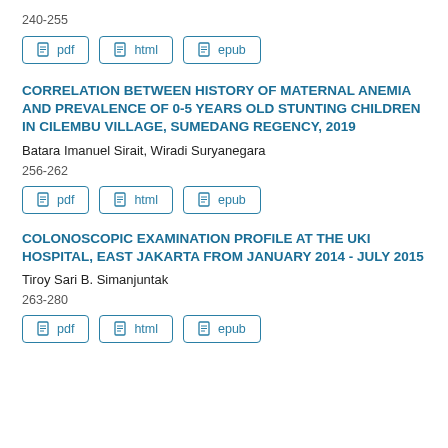240-255
[Figure (other): Row of three buttons: pdf, html, epub]
CORRELATION BETWEEN HISTORY OF MATERNAL ANEMIA AND PREVALENCE OF 0-5 YEARS OLD STUNTING CHILDREN IN CILEMBU VILLAGE, SUMEDANG REGENCY, 2019
Batara Imanuel Sirait, Wiradi Suryanegara
256-262
[Figure (other): Row of three buttons: pdf, html, epub]
COLONOSCOPIC EXAMINATION PROFILE AT THE UKI HOSPITAL, EAST JAKARTA FROM JANUARY 2014 - JULY 2015
Tiroy Sari B. Simanjuntak
263-280
[Figure (other): Row of three buttons: pdf, html, epub]